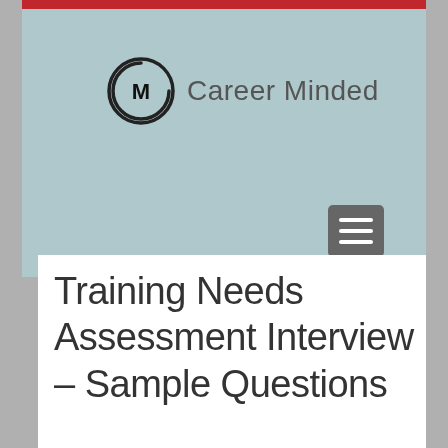[Figure (logo): Career Minded logo with circular CM icon and text 'Career Minded']
Training Needs Assessment Interview – Sample Questions